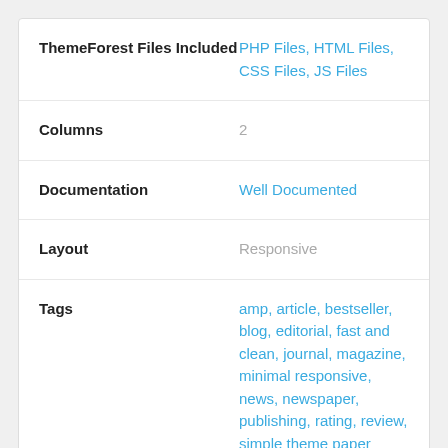| ThemeForest Files Included | PHP Files, HTML Files, CSS Files, JS Files |
| Columns | 2 |
| Documentation | Well Documented |
| Layout | Responsive |
| Tags | amp, article, bestseller, blog, editorial, fast and clean, journal, magazine, minimal responsive, news, newspaper, publishing, rating, review, simple theme paper |
© All Rights Reserved Bdaia
Contact the Envato Market Help Team